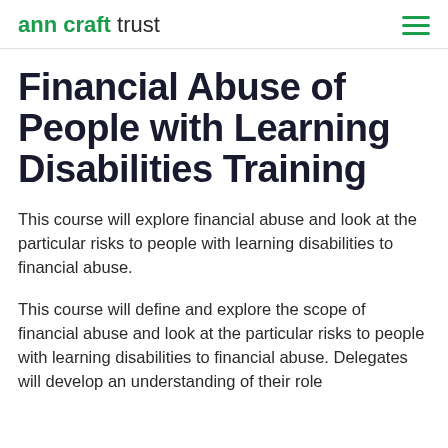ann craft trust
Financial Abuse of People with Learning Disabilities Training
This course will explore financial abuse and look at the particular risks to people with learning disabilities to financial abuse.
This course will define and explore the scope of financial abuse and look at the particular risks to people with learning disabilities to financial abuse. Delegates will develop an understanding of their role